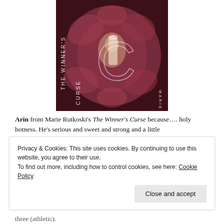[Figure (illustration): Book cover of 'The Winner's Curse' by Marie Rutkoski. A woman in an elaborate dark pink/mauve dress lies on a wooden surface. The title 'THE WINNER'S CURSE' and author name 'MARIE RUTKOSKI' appear in vertical white text on either side.]
Arin from Marie Rutkoski's The Winner's Curse because…. holy hotness. He's serious and sweet and strong and a little
Privacy & Cookies: This site uses cookies. By continuing to use this website, you agree to their use.
To find out more, including how to control cookies, see here: Cookie Policy
Close and accept
three (athletic).